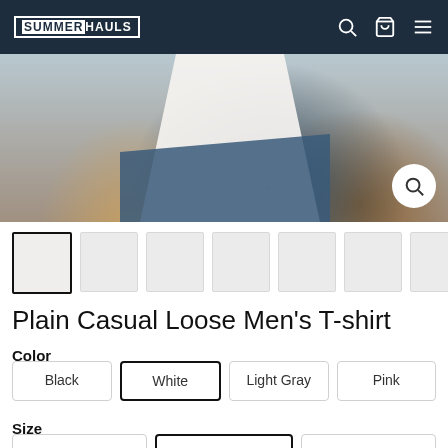SUMMER HAULS — navigation bar with search, cart, and menu icons
[Figure (photo): Close-up photo of a man wearing a white t-shirt with jeans, holding a skateboard]
[Figure (other): Thumbnail image strip with 7 product images, first one selected with black border]
Plain Casual Loose Men's T-shirt
Color
Black
White (selected)
Light Gray
Pink
Size